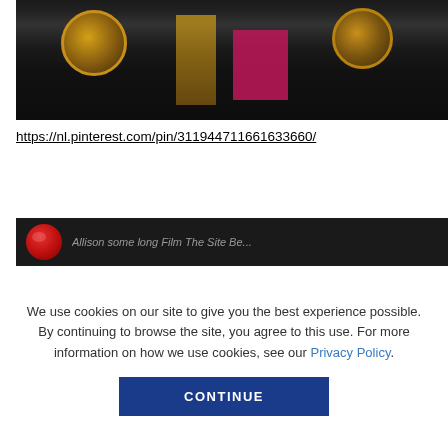[Figure (photo): Dark photo of musicians performing on stage, with round stringed instruments (lutes/mandolins) visible and pink/red stage lighting accents]
https://nl.pinterest.com/pin/311944711661633660/
[Figure (photo): Partial bottom image with dark background, red circular logo on the left and partial italic text visible]
We use cookies on our site to give you the best experience possible. By continuing to browse the site, you agree to this use. For more information on how we use cookies, see our Privacy Policy.
CONTINUE